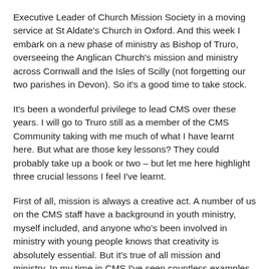Executive Leader of Church Mission Society in a moving service at St Aldate's Church in Oxford. And this week I embark on a new phase of ministry as Bishop of Truro, overseeing the Anglican Church's mission and ministry across Cornwall and the Isles of Scilly (not forgetting our two parishes in Devon). So it's a good time to take stock.
It's been a wonderful privilege to lead CMS over these years. I will go to Truro still as a member of the CMS Community taking with me much of what I have learnt here. But what are those key lessons? They could probably take up a book or two – but let me here highlight three crucial lessons I feel I've learnt.
First of all, mission is always a creative act. A number of us on the CMS staff have a background in youth ministry, myself included, and anyone who's been involved in ministry with young people knows that creativity is absolutely essential. But it's true of all mission and ministry. In my time in CMS I've seen countless examples of that, whether that's people setting up projects to help "petrol-heads" talk about cars and Jesus, or working with farmers in rural Uganda discovering new ways of making the land